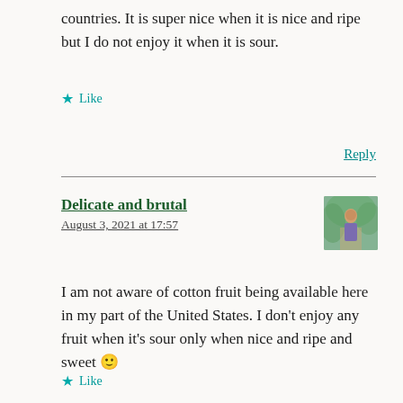countries. It is super nice when it is nice and ripe but I do not enjoy it when it is sour.
★ Like
Reply
Delicate and brutal
August 3, 2021 at 17:57
[Figure (photo): Small square avatar photo of a person outdoors]
I am not aware of cotton fruit being available here in my part of the United States. I don't enjoy any fruit when it's sour only when nice and ripe and sweet 🙂
★ Like